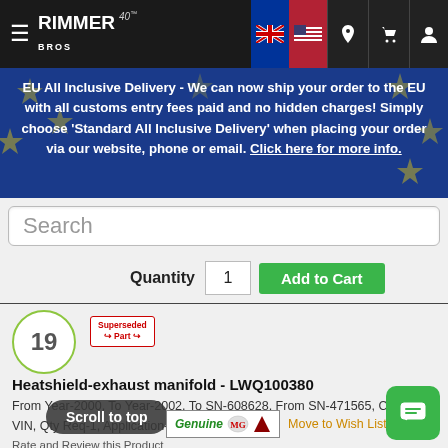Rimmer Bros - 40th Anniversary
EU All Inclusive Delivery - We can now ship your order to the EU with all customs entry fees paid and no hidden charges! Simply choose 'Standard All Inclusive Delivery' when placing your order via our website, phone or email. Click here for more info.
Search
Quantity  1  Add to Cart
19
Superseded Part
Heatshield-exhaust manifold - LWQ100380
From Year-2000, To Year-2002, To SN-608628, From SN-471565, CP Type-VIN, Qty Req-1, Application-16V - K Series
Rate and Review this Product
Part No.: LWQ100380
This Part Has Been Superseded
Genuine MG   Move to Wish List
Scroll to top